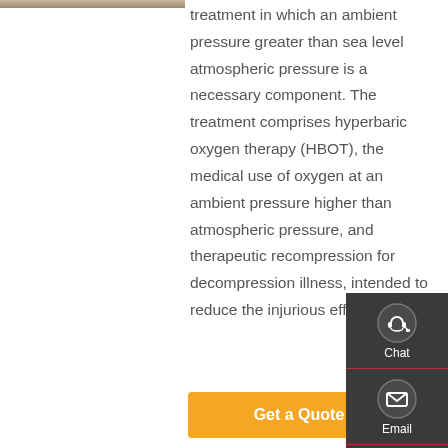[Figure (photo): Partial view of a hyperbaric chamber or related medical equipment, cropped at top-left]
treatment in which an ambient pressure greater than sea level atmospheric pressure is a necessary component. The treatment comprises hyperbaric oxygen therapy (HBOT), the medical use of oxygen at an ambient pressure higher than atmospheric pressure, and therapeutic recompression for decompression illness, intended to reduce the injurious effects …
[Figure (infographic): Right-side floating contact/navigation sidebar with Chat, Email, Contact, and Top buttons on dark background]